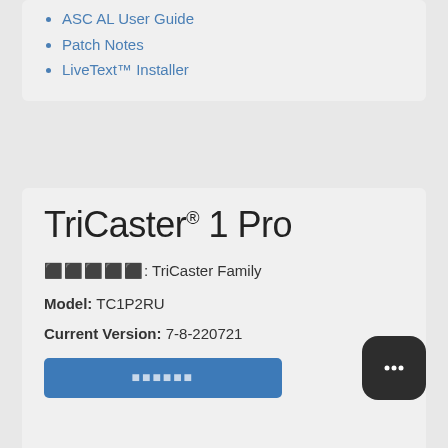ASC AL User Guide
Patch Notes
LiveText™ Installer
TriCaster® 1 Pro
●●●●●: TriCaster Family
Model: TC1P2RU
Current Version: 7-8-220721
[Figure (other): Blue download button with garbled text label]
[Figure (other): Chat bubble icon button, dark rounded square with three dots]
Resources: